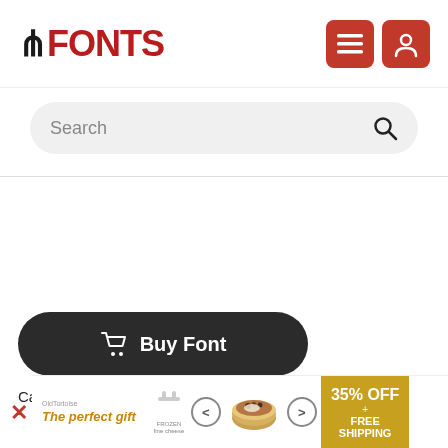FONTS — header with logo and navigation icons
Search
Buy Font
Canto Brush Bold Italic Commercial Fonts
[Figure (screenshot): Advertisement banner: 'The perfect gift' with food bowl image, navigation arrows, and 35% OFF + FREE SHIPPING offer]